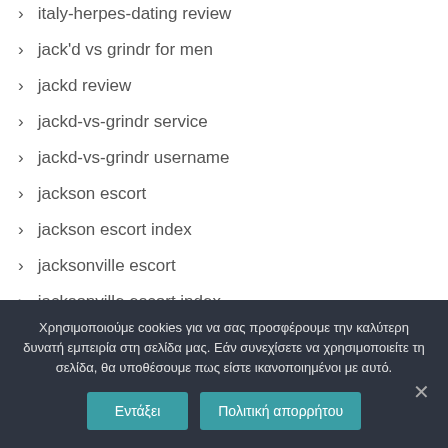italy-herpes-dating review
jack'd vs grindr for men
jackd review
jackd-vs-grindr service
jackd-vs-grindr username
jackson escort
jackson escort index
jacksonville escort
jacksonville escort index
Χρησιμοποιούμε cookies για να σας προσφέρουμε την καλύτερη δυνατή εμπειρία στη σελίδα μας. Εάν συνεχίσετε να χρησιμοποιείτε τη σελίδα, θα υποθέσουμε πως είστε ικανοποιημένοι με αυτό.
Εντάξει
Πολιτική απορρήτου